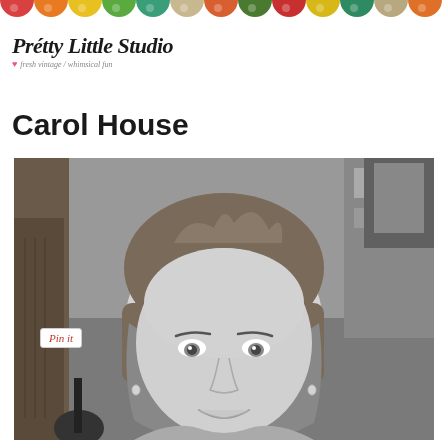[Figure (other): Decorative banner with colorful polka-dot half-circles in red, orange, yellow, green, teal, tan, orange, dark green, and other colors across the top of the page]
[Figure (logo): Pretty Little Studio logo with script/italic font and small red heart, subtitle reads 'fresh vintage / whimsical fun']
Carol House
[Figure (photo): Black and white portrait photo of Carol House, a woman with medium-length hair, smiling, with a 'Pin it' button overlay in the upper left corner of the image]